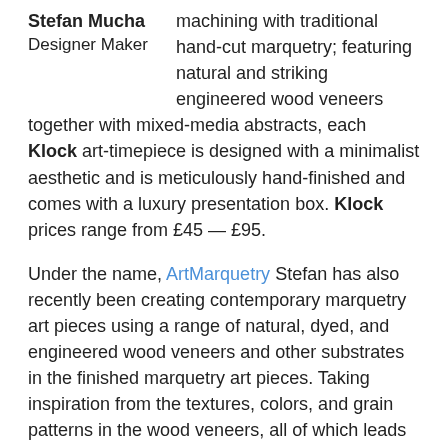Stefan Mucha
Designer Maker
machining with traditional hand-cut marquetry; featuring natural and striking engineered wood veneers together with mixed-media abstracts, each Klock art-timepiece is designed with a minimalist aesthetic and is meticulously hand-finished and comes with a luxury presentation box. Klock prices range from £45 — £95.
Under the name, ArtMarquetry Stefan has also recently been creating contemporary marquetry art pieces using a range of natural, dyed, and engineered wood veneers and other substrates in the finished marquetry art pieces. Taking inspiration from the textures, colors, and grain patterns in the wood veneers, all of which leads to a pareidolia-inspired direction in creating new marquetry pieces.